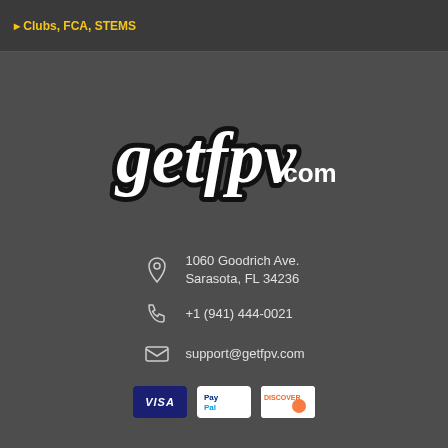Clubs, FCA, STEMS
[Figure (logo): getfpv.com logo in cursive white text with black outline stroke]
1060 Goodrich Ave.
Sarasota, FL 34236
+1 (941) 444-0021
support@getfpv.com
[Figure (other): Payment method logos: VISA, PayPal, Discover]